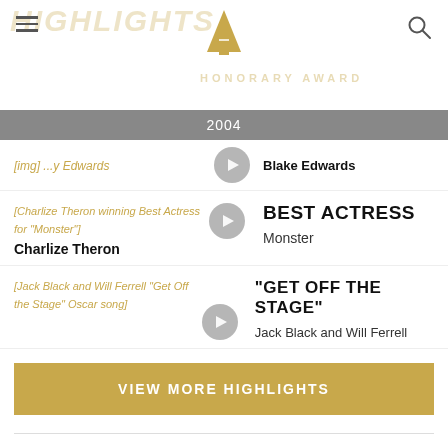HIGHLIGHTS | HONORARY AWARD | 2004
Blake Edwards
BEST ACTRESS
Monster
Charlize Theron
"GET OFF THE STAGE"
Jack Black and Will Ferrell
VIEW MORE HIGHLIGHTS
MEMORABLE MOMENTS
[Figure (screenshot): Original Song thumbnail at bottom]